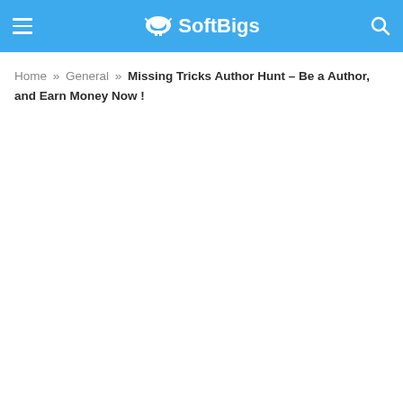SoftBigs
Home » General » Missing Tricks Author Hunt – Be a Author, and Earn Money Now !